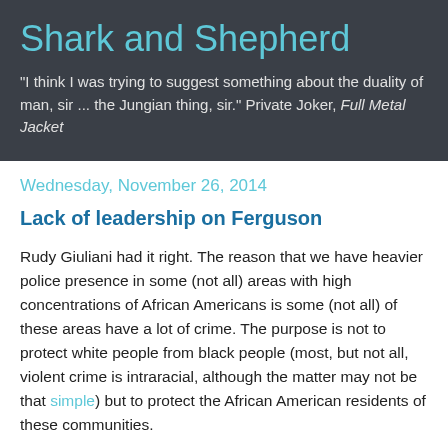Shark and Shepherd
"I think I was trying to suggest something about the duality of man, sir ... the Jungian thing, sir." Private Joker, Full Metal Jacket
Wednesday, November 26, 2014
Lack of leadership on Ferguson
Rudy Giuliani had it right. The reason that we have heavier police presence in some (not all) areas with high concentrations of African Americans is some (not all) of these areas have a lot of crime. The purpose is not to protect white people from black people (most, but not all, violent crime is intraracial, although the matter may not be that simple) but to protect the African American residents of these communities.
That's not only a good thing; it is essential to the